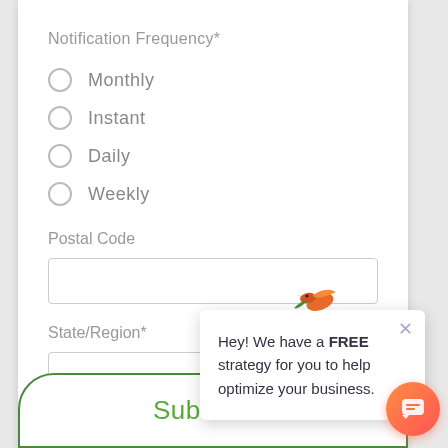Notification Frequency*
Monthly
Instant
Daily
Weekly
Postal Code
State/Region*
Hey! We have a FREE strategy for you to help optimize your business.
Subscribe